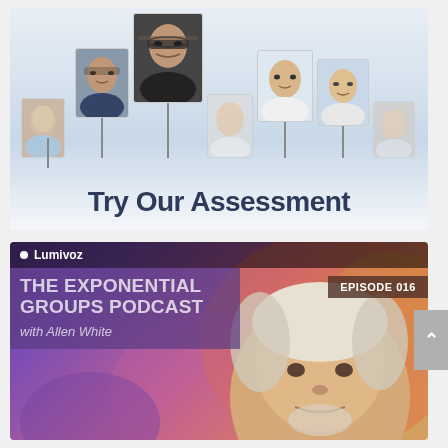[Figure (photo): A promotional banner showing multiple portrait photos clipped to a board, with text 'Try Our Assessment' below]
[Figure (photo): Podcast cover art for 'The Exponential Groups Podcast with Allen White', Episode 016, on Lumivoz platform, showing an elderly man's face against a colorful purple-orange background]